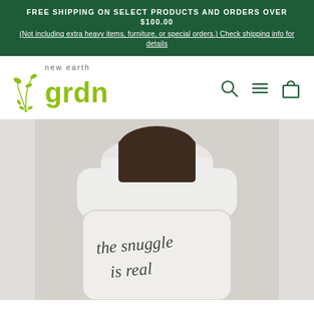FREE SHIPPING ON SELECT PRODUCTS AND ORDERS OVER $100.00
(Not including extra heavy items, furniture, or special orders.) Check shipping info for details
[Figure (logo): New Earth Garden (new earth grdn) logo with green plant icon and bold green text]
[Figure (photo): A woman in a white long-sleeve shirt holding up a white decorative pillow with cursive text reading 'the snuggle is real']